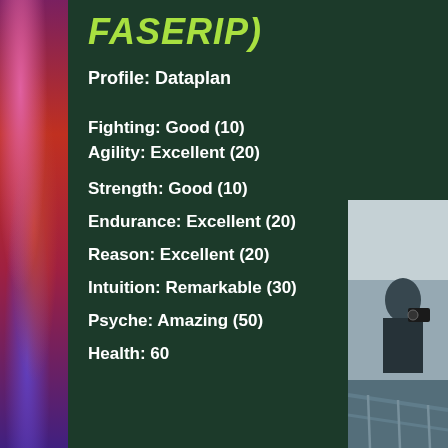[Figure (illustration): Colorful illustrated character on the left side of the page]
FASERIP)
Profile:  Dataplan
Fighting: Good (10)
Agility:  Excellent (20)
Strength:  Good (10)
Endurance:  Excellent (20)
Reason:  Excellent (20)
Intuition:  Remarkable (30)
Psyche:  Amazing (50)
Health:  60
[Figure (photo): Person holding a camera, visible on the right side bottom half of the page]